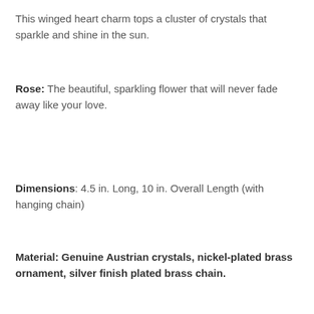This winged heart charm tops a cluster of crystals that sparkle and shine in the sun.
Rose: The beautiful, sparkling flower that will never fade away like your love.
Dimensions: 4.5 in. Long, 10 in. Overall Length (with hanging chain)
Material: Genuine Austrian crystals, nickel-plated brass ornament, silver finish plated brass chain.